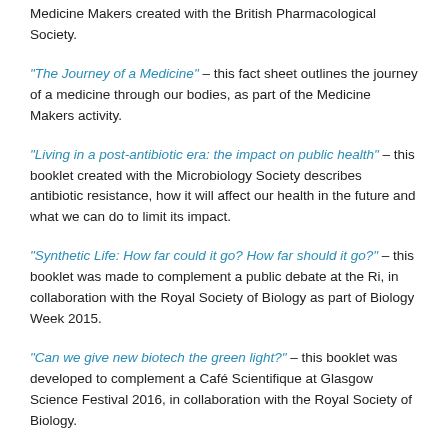Medicine Makers created with the British Pharmacological Society.
"The Journey of a Medicine" – this fact sheet outlines the journey of a medicine through our bodies, as part of the Medicine Makers activity.
"Living in a post-antibiotic era: the impact on public health" – this booklet created with the Microbiology Society describes antibiotic resistance, how it will affect our health in the future and what we can do to limit its impact.
"Synthetic Life: How far could it go? How far should it go?" – this booklet was made to complement a public debate at the Ri, in collaboration with the Royal Society of Biology as part of Biology Week 2015.
"Can we give new biotech the green light?" – this booklet was developed to complement a Café Scientifique at Glasgow Science Festival 2016, in collaboration with the Royal Society of Biology.